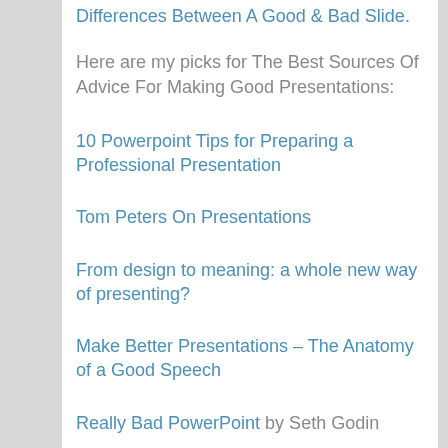Differences Between A Good & Bad Slide.
Here are my picks for The Best Sources Of Advice For Making Good Presentations:
10 Powerpoint Tips for Preparing a Professional Presentation
Tom Peters On Presentations
From design to meaning: a whole new way of presenting?
Make Better Presentations – The Anatomy of a Good Speech
Really Bad PowerPoint by Seth Godin